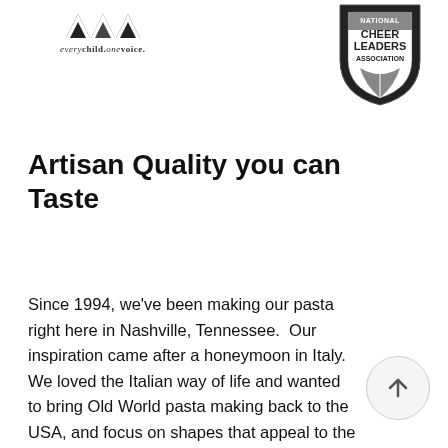everychild.onevoice. | NATIONAL CHEERLEADERS ASSOCIATION
Artisan Quality you can Taste
Since 1994, we’ve been making our pasta right here in Nashville, Tennessee.  Our inspiration came after a honeymoon in Italy.  We loved the Italian way of life and wanted to bring Old World pasta making back to the USA, and focus on shapes that appeal to the American marketplace.